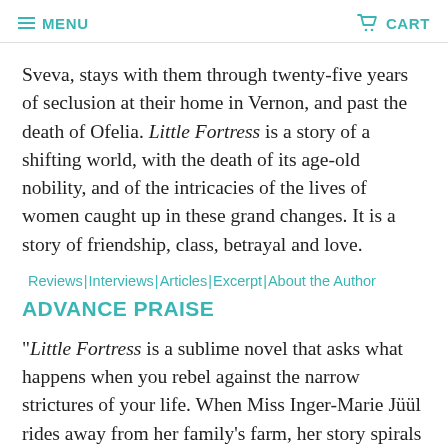MENU  CART
Sveva, stays with them through twenty-five years of seclusion at their home in Vernon, and past the death of Ofelia. Little Fortress is a story of a shifting world, with the death of its age-old nobility, and of the intricacies of the lives of women caught up in these grand changes. It is a story of friendship, class, betrayal and love.
Reviews | Interviews | Articles | Excerpt | About the Author
ADVANCE PRAISE
“Little Fortress is a sublime novel that asks what happens when you rebel against the narrow strictures of your life. When Miss Inger-Marie Jüül rides away from her family’s farm, her story spirals